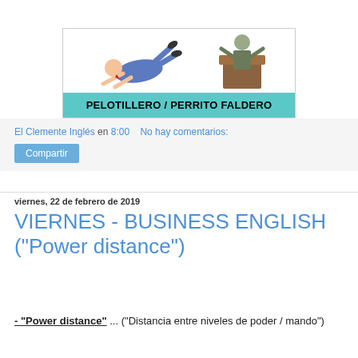[Figure (illustration): Cartoon illustration of a person bowing/crawling toward a figure at a podium, with teal banner below reading PELOTILLERO / PERRITO FALDERO]
El Clemente Inglés en 8:00   No hay comentarios:
Compartir
viernes, 22 de febrero de 2019
VIERNES - BUSINESS ENGLISH ("Power distance")
- "Power distance" ... ("Distancia entre niveles de poder / mando")